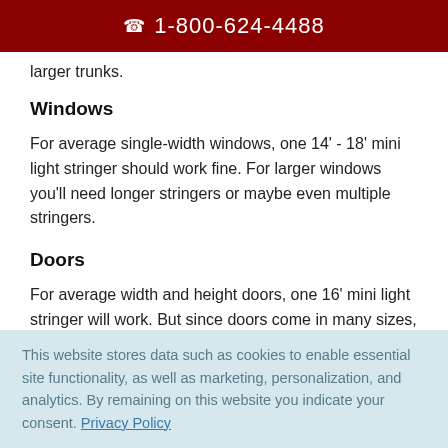☎ 1-800-624-4488
larger trunks.
Windows
For average single-width windows, one 14' - 18' mini light stringer should work fine. For larger windows you'll need longer stringers or maybe even multiple stringers.
Doors
For average width and height doors, one 16' mini light stringer will work. But since doors come in many sizes, you
This website stores data such as cookies to enable essential site functionality, as well as marketing, personalization, and analytics. By remaining on this website you indicate your consent. Privacy Policy